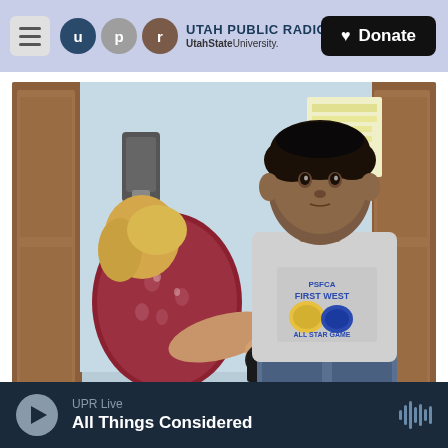Utah Public Radio — UtahState University | Donate
[Figure (photo): A healthcare worker taking blood pressure of a young teenage boy in a medical exam room. The nurse/medical worker has blonde hair and wears a dark red floral top. The boy is wearing a grey 'PSFCA First West All Star Game' t-shirt and jeans, sitting on a medical table. Behind them is a light blue wall, wood cabinet doors, hand sanitizer dispensers, and medical notices.]
Reid R. Frazier / Allegheny Front / Allegheny Front
UPR Live
All Things Considered